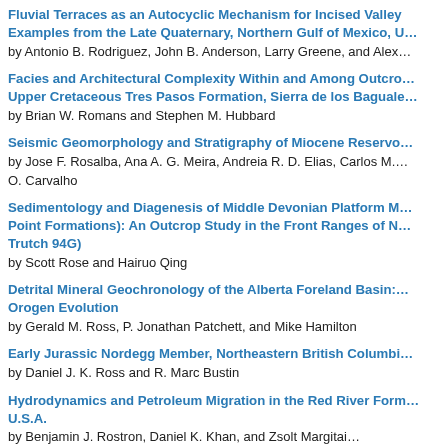Fluvial Terraces as an Autocyclic Mechanism for Incised Valley Examples from the Late Quaternary, Northern Gulf of Mexico, U… by Antonio B. Rodriguez, John B. Anderson, Larry Greene, and Alex…
Facies and Architectural Complexity Within and Among Outcro… Upper Cretaceous Tres Pasos Formation, Sierra de los Baguale… by Brian W. Romans and Stephen M. Hubbard
Seismic Geomorphology and Stratigraphy of Miocene Reservo… by Jose F. Rosalba, Ana A. G. Meira, Andreia R. D. Elias, Carlos M.… O. Carvalho
Sedimentology and Diagenesis of Middle Devonian Platform M… Point Formations): An Outcrop Study in the Front Ranges of N… Trutch 94G) by Scott Rose and Hairuo Qing
Detrital Mineral Geochronology of the Alberta Foreland Basin:… Orogen Evolution by Gerald M. Ross, P. Jonathan Patchett, and Mike Hamilton
Early Jurassic Nordegg Member, Northeastern British Columbi… by Daniel J. K. Ross and R. Marc Bustin
Hydrodynamics and Petroleum Migration in the Red River Form… U.S.A. by Benjamin J. Rostron, Daniel K. Khan, and Zsolt Margitai…